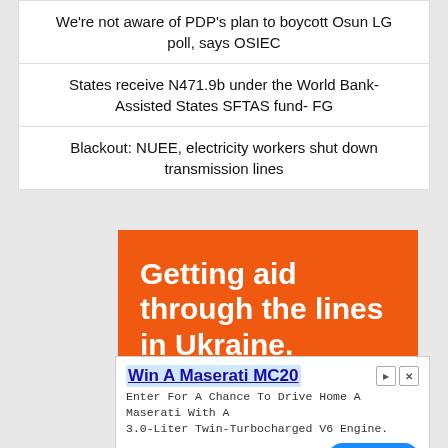We're not aware of PDP's plan to boycott Osun LG poll, says OSIEC
States receive N471.9b under the World Bank-Assisted States SFTAS fund- FG
Blackout: NUEE, electricity workers shut down transmission lines
[Figure (infographic): Orange advertisement banner reading 'Getting aid through the lines in Ukraine.' with a 'YOU CAN HELP >>' button outline]
[Figure (infographic): Bottom overlay ad: 'Win A Maserati MC20' - Enter For A Chance To Drive Home A Maserati With A 3.0-Liter Twin-Turbocharged V6 Engine. Source: Omaze. Visit Site button.]